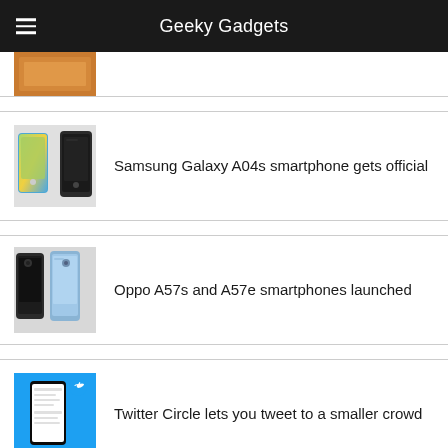Geeky Gadgets
[Figure (screenshot): Partial article thumbnail (cropped image of an orange/gold colored item)]
Samsung Galaxy A04s smartphone gets official
[Figure (photo): Samsung Galaxy A04s smartphones in green/yellow and black colors]
Oppo A57s and A57e smartphones launched
[Figure (photo): Oppo A57s and A57e smartphones in black and blue/silver colors]
Twitter Circle lets you tweet to a smaller crowd
[Figure (screenshot): Twitter Circle feature screenshot on a phone with blue background]